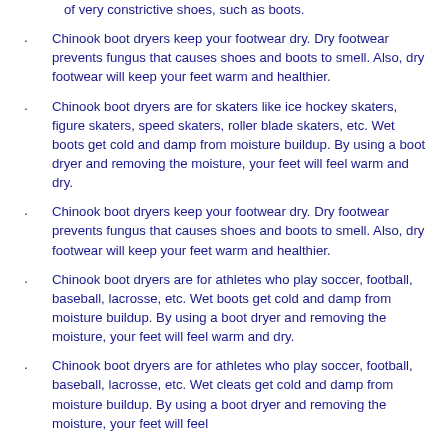of very constrictive shoes, such as boots.
Chinook boot dryers keep your footwear dry. Dry footwear prevents fungus that causes shoes and boots to smell. Also, dry footwear will keep your feet warm and healthier.
Chinook boot dryers are for skaters like ice hockey skaters, figure skaters, speed skaters, roller blade skaters, etc. Wet boots get cold and damp from moisture buildup. By using a boot dryer and removing the moisture, your feet will feel warm and dry.
Chinook boot dryers keep your footwear dry. Dry footwear prevents fungus that causes shoes and boots to smell. Also, dry footwear will keep your feet warm and healthier.
Chinook boot dryers are for athletes who play soccer, football, baseball, lacrosse, etc. Wet boots get cold and damp from moisture buildup. By using a boot dryer and removing the moisture, your feet will feel warm and dry.
Chinook boot dryers are for athletes who play soccer, football, baseball, lacrosse, etc. Wet cleats get cold and damp from moisture buildup. By using a boot dryer and removing the moisture, your feet will feel